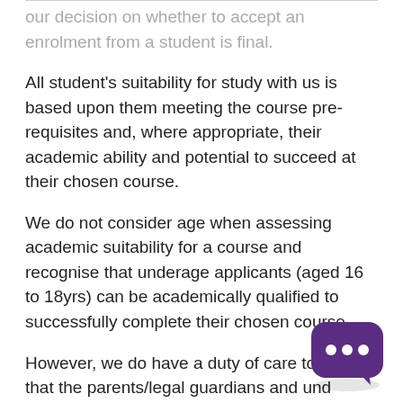our decision on whether to accept an enrolment from a student is final.
All student's suitability for study with us is based upon them meeting the course pre-requisites and, where appropriate, their academic ability and potential to succeed at their chosen course.
We do not consider age when assessing academic suitability for a course and recognise that underage applicants (aged 16 to 18yrs) can be academically qualified to successfully complete their chosen course.
However, we do have a duty of care to ensure that the parents/legal guardians and underage students understand and are aware of some important components of what it means to be